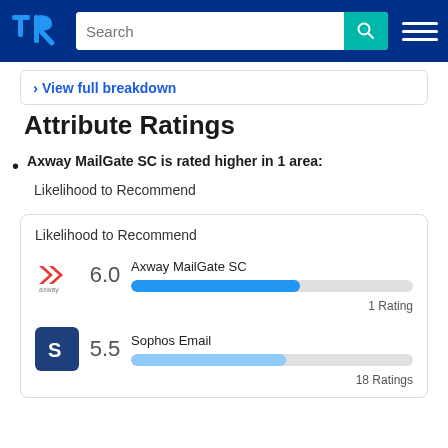TrustRadius navigation bar with search
View full breakdown
Attribute Ratings
Axway MailGate SC is rated higher in 1 area: Likelihood to Recommend
[Figure (bar-chart): Likelihood to Recommend]